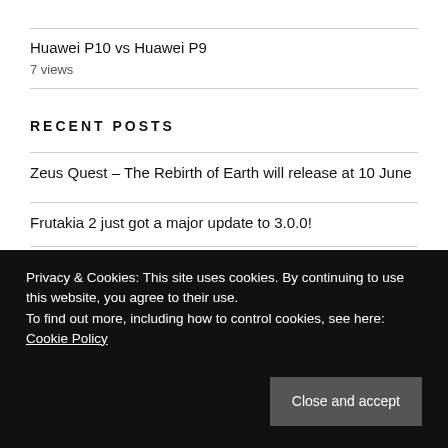Huawei P10 vs Huawei P9
7 views
RECENT POSTS
Zeus Quest – The Rebirth of Earth will release at 10 June
Frutakia 2 just got a major update to 3.0.0!
Personality and Psychology just got a special patch in PS5/PS4!
Privacy & Cookies: This site uses cookies. By continuing to use this website, you agree to their use.
To find out more, including how to control cookies, see here: Cookie Policy
Close and accept